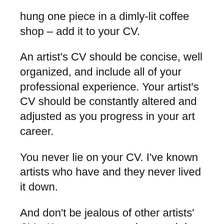hung one piece in a dimly-lit coffee shop – add it to your CV.
An artist's CV should be concise, well organized, and include all of your professional experience. Your artist's CV should be constantly altered and adjusted as you progress in your art career.
You never lie on your CV. I've known artists who have and they never lived it down.
And don't be jealous of other artists' CVs. Keep to your own lane and do your job. Which, if you're just starting out, is to build your art career and your CV.
Writing any CV can seem like a daunting,